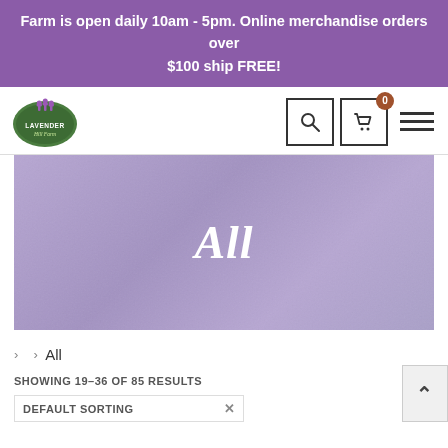Farm is open daily 10am - 5pm. Online merchandise orders over $100 ship FREE!
[Figure (logo): Lavender Hill Farm circular logo with lavender illustration]
SHOWING 19–36 OF 85 RESULTS
All
> > All
SHOWING 19–36 OF 85 RESULTS
DEFAULT SORTING